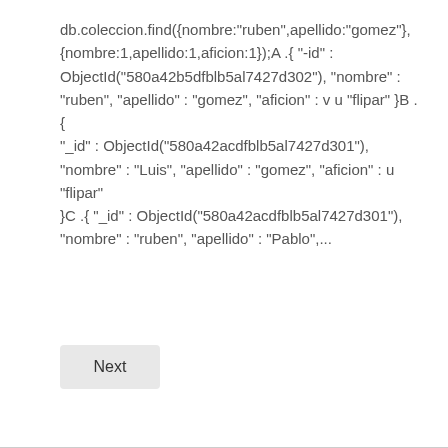db.coleccion.find({nombre:"ruben",apellido:"gomez"},{nombre:1,apellido:1,aficion:1});A .{ "-id" : ObjectId("580a42b5dfblb5al7427d302"), "nombre" : "ruben", "apellido" : "gomez", "aficion" : v u "flipar" }B .{ "_id" : ObjectId("580a42acdfblb5al7427d301"), "nombre" : "Luis", "apellido" : "gomez", "aficion" : u "flipar" }C .{ "_id" : ObjectId("580a42acdfblb5al7427d301"), "nombre" : "ruben", "apellido" : "Pablo",...